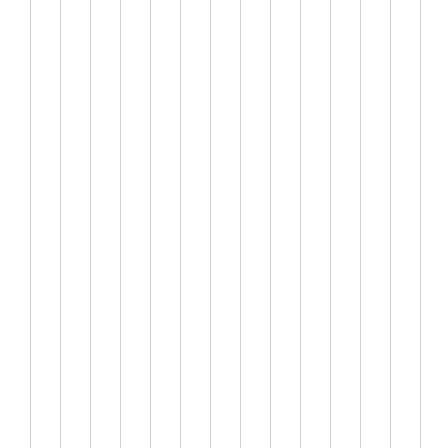[Figure (illustration): Multiple vertical gray lines arranged side by side on the left portion of the page, resembling a ruled or lined background pattern.]
ckagetothetarget.lk
[Figure (screenshot): Bottom toolbar with a chat/speech bubble icon button on the left and a hamburger menu icon (three horizontal lines) on the right.]